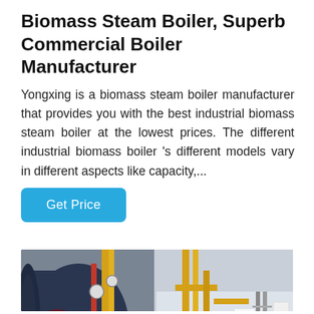Biomass Steam Boiler, Superb Commercial Boiler Manufacturer
Yongxing is a biomass steam boiler manufacturer that provides you with the best industrial biomass steam boiler at the lowest prices. The different industrial biomass boiler 's different models vary in different aspects like capacity,...
Get Price
[Figure (photo): Industrial boiler facility showing large dark blue horizontal cylindrical boiler on the left with yellow pipework and gauges, and a matching industrial boiler room with blue boilers, yellow pipes, and metal structures on the right.]